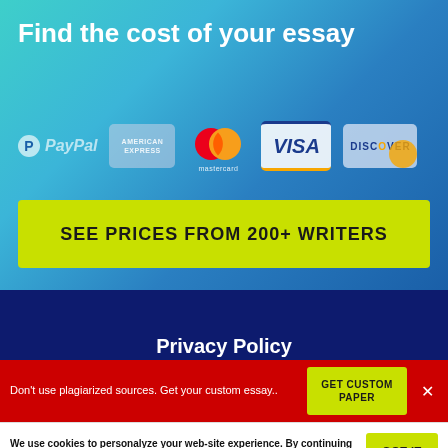Find the cost of your essay
[Figure (logo): Payment method logos: PayPal, American Express, Mastercard, Visa, Discover]
SEE PRICES FROM 200+ WRITERS
Privacy Policy
Don't use plagiarized sources. Get your custom essay..
GET CUSTOM PAPER
We use cookies to personalyze your web-site experience. By continuing we'll assume you board with our cookie policy.
GOT IT